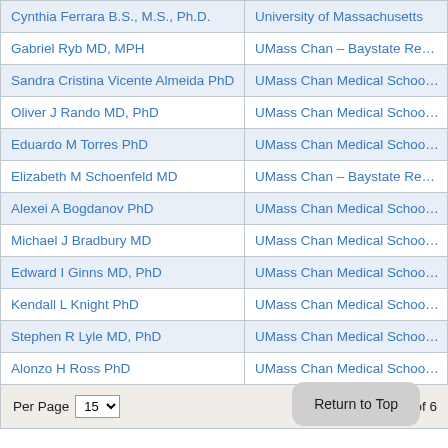| Name | Institution |
| --- | --- |
| Cynthia Ferrara B.S., M.S., Ph.D. | University of Massachusetts |
| Gabriel Ryb MD, MPH | UMass Chan – Baystate Re… |
| Sandra Cristina Vicente Almeida PhD | UMass Chan Medical Schoo… |
| Oliver J Rando MD, PhD | UMass Chan Medical Schoo… |
| Eduardo M Torres PhD | UMass Chan Medical Schoo… |
| Elizabeth M Schoenfeld MD | UMass Chan – Baystate Re… |
| Alexei A Bogdanov PhD | UMass Chan Medical Schoo… |
| Michael J Bradbury MD | UMass Chan Medical Schoo… |
| Edward I Ginns MD, PhD | UMass Chan Medical Schoo… |
| Kendall L Knight PhD | UMass Chan Medical Schoo… |
| Stephen R Lyle MD, PhD | UMass Chan Medical Schoo… |
| Alonzo H Ross PhD | UMass Chan Medical Schoo… |
Per Page 15 | Page 1 of 6
Return to Top